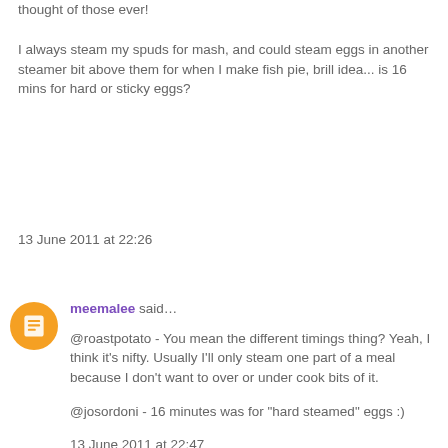thought of those ever!
I always steam my spuds for mash, and could steam eggs in another steamer bit above them for when I make fish pie, brill idea... is 16 mins for hard or sticky eggs?
13 June 2011 at 22:26
meemalee said…
@roastpotato - You mean the different timings thing? Yeah, I think it's nifty. Usually I'll only steam one part of a meal because I don't want to over or under cook bits of it.
@josordoni - 16 minutes was for "hard steamed" eggs :)
13 June 2011 at 22:47